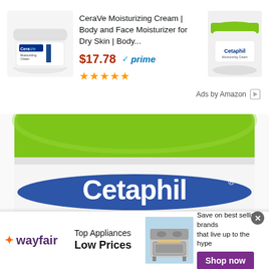[Figure (screenshot): Amazon ad showing CeraVe Moisturizing Cream product listing with image, title, price $17.78, Prime badge, and 5-star rating. A Cetaphil Moisturizing Cream thumbnail appears on the right.]
CeraVe Moisturizing Cream | Body and Face Moisturizer for Dry Skin | Body...
$17.78 ✓prime
★★★★★
Ads by Amazon ▷
[Figure (photo): Large close-up photo of a Cetaphil Moisturizing Cream jar with a bright green lid and white body showing the Cetaphil logo in blue and white.]
[Figure (screenshot): Wayfair advertisement banner at the bottom showing: Wayfair logo, 'Top Appliances Low Prices' text, a stove/range appliance image, and 'Save on best selling brands that live up to the hype' with a 'Shop now' purple button.]
Top Appliances
Low Prices
Save on best selling brands that live up to the hype
Shop now